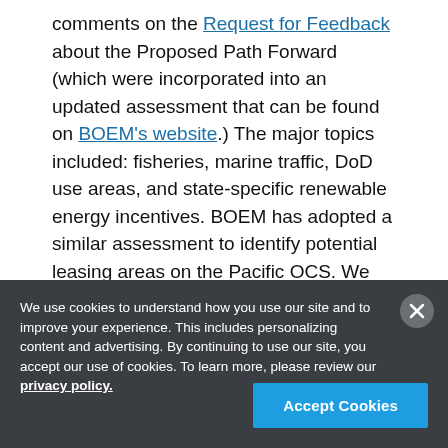comments on the Request for Feedback about the Proposed Path Forward (which were incorporated into an updated assessment that can be found on BOEM's website.) The major topics included: fisheries, marine traffic, DoD use areas, and state-specific renewable energy incentives. BOEM has adopted a similar assessment to identify potential leasing areas on the Pacific OCS. We will continue to work hard to balance the needs of all of our stakeholders through extensive
We use cookies to understand how you use our site and to improve your experience. This includes personalizing content and advertising. By continuing to use our site, you accept our use of cookies. To learn more, please review our privacy policy.